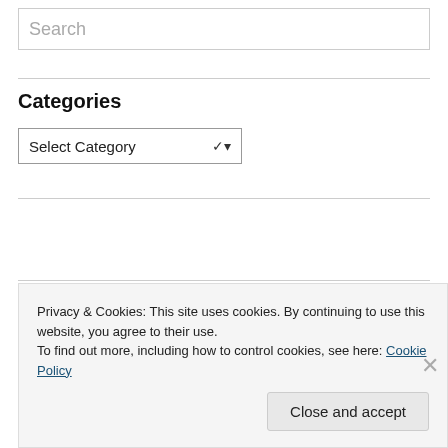Search
Categories
Select Category
Abbreviations
Privacy & Cookies: This site uses cookies. By continuing to use this website, you agree to their use.
To find out more, including how to control cookies, see here: Cookie Policy
Close and accept